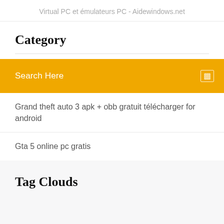Virtual PC et émulateurs PC - Aidewindows.net
Category
Search Here
Grand theft auto 3 apk + obb gratuit télécharger for android
Gta 5 online pc gratis
Tag Clouds